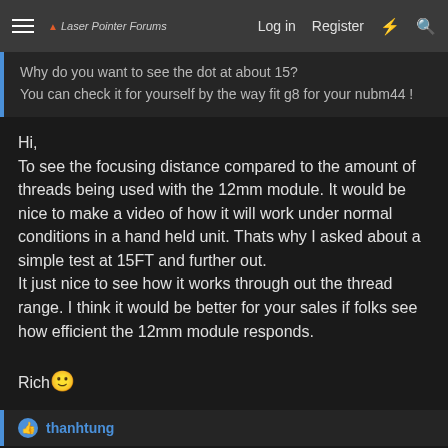Laser Pointer Forums — Log in  Register
Why do you want to see the dot at about 15?
You can check it for yourself by the way fit g8 for your nubm44 !
Hi,
To see the focusing distance compared to the amount of threads being used with the 12mm module. It would be nice to make a video of how it will work under normal conditions in a hand held unit. Thats why I asked about a simple test at 15FT and further out.
It just nice to see how it works through out the thread range. I think it would be better for your sales if folks see how efficient the 12mm module responds.

Rich 🙂
thanhtung